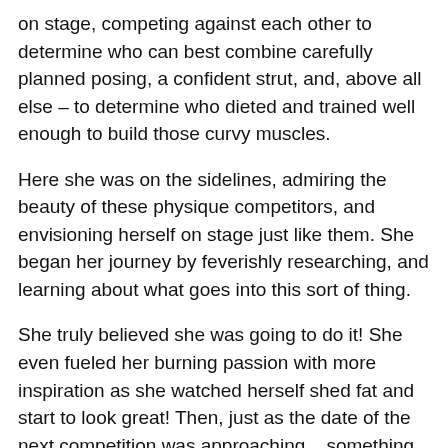on stage, competing against each other to determine who can best combine carefully planned posing, a confident strut, and, above all else – to determine who dieted and trained well enough to build those curvy muscles.
Here she was on the sidelines, admiring the beauty of these physique competitors, and envisioning herself on stage just like them. She began her journey by feverishly researching, and learning about what goes into this sort of thing.
She truly believed she was going to do it! She even fueled her burning passion with more inspiration as she watched herself shed fat and start to look great! Then, just as the date of the next competition was approaching... something strange happened. She started to doubt herself.